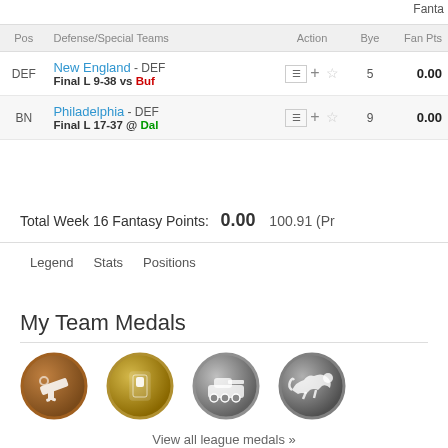Fanta
| Pos | Defense/Special Teams | Action | Bye | Fan Pts |
| --- | --- | --- | --- | --- |
| DEF | New England - DEF
Final L 9-38 vs Buf |  | 5 | 0.00 |
| BN | Philadelphia - DEF
Final L 17-37 @ Dal |  | 9 | 0.00 |
Total Week 16 Fantasy Points:    0.00    100.91 (Pr
Legend    Stats    Positions
My Team Medals
[Figure (illustration): Four medal icons: bronze telescope, gold light switch, silver tank, silver cheetah]
View all league medals »